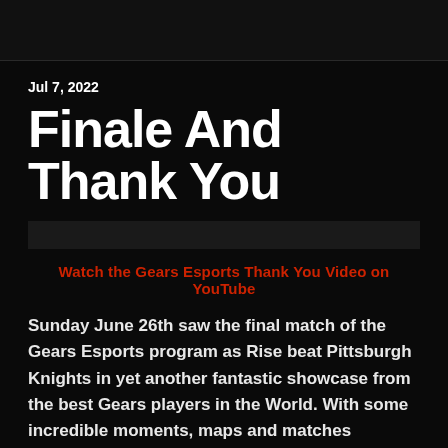Jul 7, 2022
Finale And Thank You
Watch the Gears Esports Thank You Video on YouTube
Sunday June 26th saw the final match of the Gears Esports program as Rise beat Pittsburgh Knights in yet another fantastic showcase from the best Gears players in the World. With some incredible moments, maps and matches throughout the weekend, it was a fitting way to end the program.